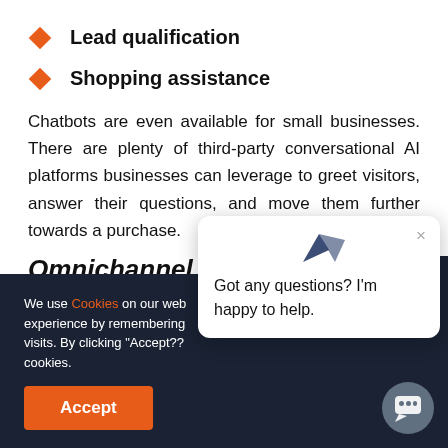Lead qualification
Shopping assistance
Chatbots are even available for small businesses. There are plenty of third-party conversational AI platforms businesses can leverage to greet visitors, answer their questions, and move them further towards a purchase.
Omnichannel Marketing
We use Cookies on our web... experience by remembering... visits. By clicking "Accept??... cookies.
Got any questions? I'm happy to help.
customer through their buying journey. For instance,